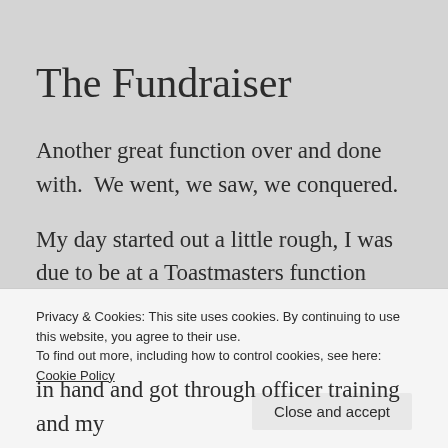The Fundraiser
Another great function over and done with.  We went, we saw, we conquered.
My day started out a little rough, I was due to be at a Toastmasters function around 7:30 AM and that's tough to do when you're clock says 7:37 when you open your eyes!  Blood pressure up, curse words flying and feet
Privacy & Cookies: This site uses cookies. By continuing to use this website, you agree to their use.
To find out more, including how to control cookies, see here: Cookie Policy
in hand and got through officer training and my